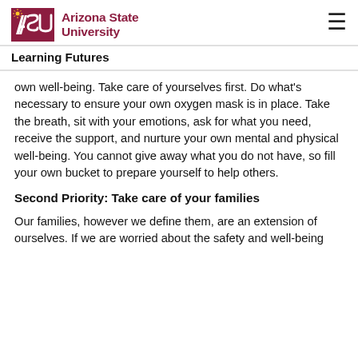ASU Arizona State University | Learning Futures
own well-being. Take care of yourselves first. Do what’s necessary to ensure your own oxygen mask is in place. Take the breath, sit with your emotions, ask for what you need, receive the support, and nurture your own mental and physical well-being. You cannot give away what you do not have, so fill your own bucket to prepare yourself to help others.
Second Priority: Take care of your families
Our families, however we define them, are an extension of ourselves. If we are worried about the safety and well-being